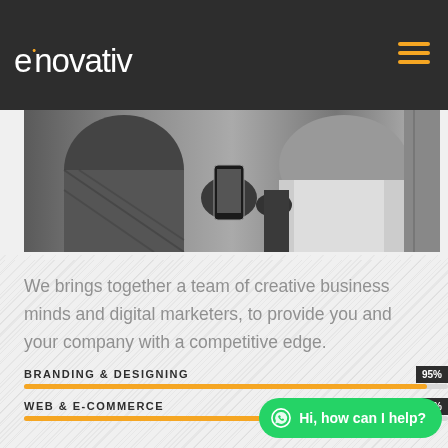[Figure (logo): Enovativ company logo in white text on dark background with orange dot accent]
[Figure (photo): Black and white photo of two people, one holding a mobile phone/tablet device]
We brings together a team of creative business minds and digital marketers, to provide you and your company with a competitive edge.
BRANDING & DESIGNING
WEB & E-COMMERCE